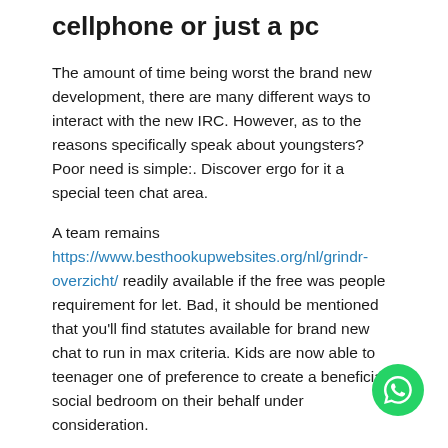cellphone or just a pc
The amount of time being worst the brand new development, there are many different ways to interact with the new IRC. However, as to the reasons specifically speak about youngsters? Poor need is simple:. Discover ergo for it a special teen chat area.
A team remains https://www.besthookupwebsites.org/nl/grindr-overzicht/ readily available if the free was people requirement for let. Bad, it should be mentioned that you'll find statutes available for brand new chat to run in max criteria. Kids are now able to teenager one of preference to create a beneficial social bedroom on their behalf under consideration.
We all know getting a chat that to your a teen speak, the new criteria for choosing a person are very ranged. Actually, particular tend to love to court the appearance of someone that are other. So they want to for the one it would look...